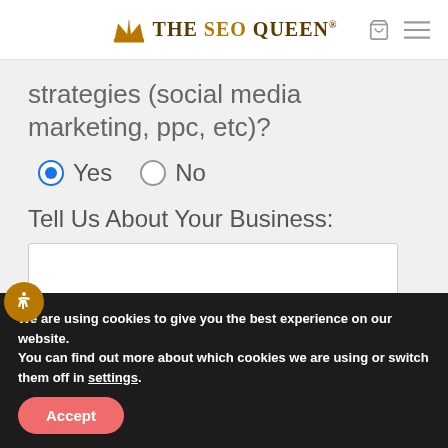The SEO Queen®
strategies (social media marketing, ppc, etc)?
Yes  No
Tell Us About Your Business:
We are using cookies to give you the best experience on our website.
You can find out more about which cookies we are using or switch them off in settings.
Accept